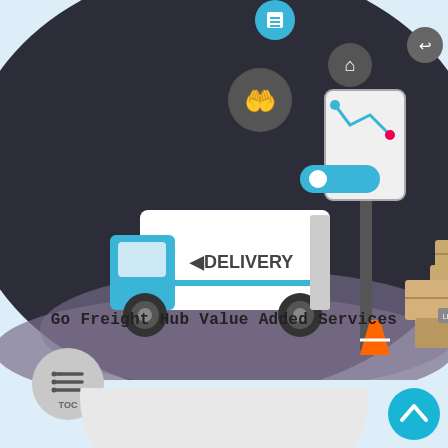[Figure (illustration): A circular dark background illustration showing a delivery truck with 'DELIVERY' text on its side, cardboard boxes stacked nearby with labels, delivery-related icons (map pin, package, checklist) floating above, and a navigation/kiosk pole with route map icons. The scene represents a freight/logistics delivery service with low-poly 3D style artwork.]
Go Freight Hub Value Added Services
[Figure (illustration): Bottom partial circle (light gray/white) emerging from the bottom of the page, showing the top portion of another illustration with a golden/yellow rectangular element visible at the bottom center.]
[Figure (other): TOC (Table of Contents) circular button icon with horizontal lines representing a list, in gray color with 'TOC' text below.]
[Figure (other): A teal/blue circular button with an upward-pointing chevron/arrow icon in the bottom-right corner, serving as a 'back to top' navigation button.]